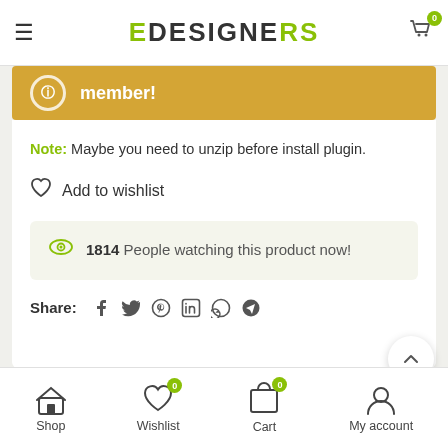eDESIGNERS
member!
Note: Maybe you need to unzip before install plugin.
♡ Add to wishlist
1814 People watching this product now!
Share:
Shop | Wishlist 0 | Cart 0 | My account